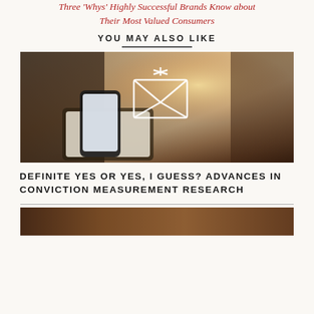Three 'Whys' Highly Successful Brands Know about Their Most Valued Consumers
YOU MAY ALSO LIKE
[Figure (photo): Person holding a smartphone with a glowing envelope/email icon overlay, warm bokeh background, dark ambient lighting]
DEFINITE YES OR YES, I GUESS? ADVANCES IN CONVICTION MEASUREMENT RESEARCH
[Figure (photo): Partial view of another article thumbnail image at the bottom of the page]